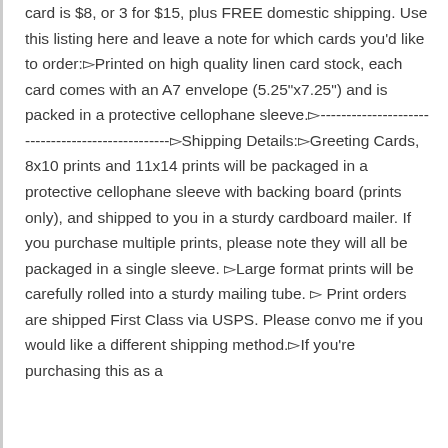card is $8, or 3 for $15, plus FREE domestic shipping. Use this listing here and leave a note for which cards you'd like to order:▻Printed on high quality linen card stock, each card comes with an A7 envelope (5.25”x7.25”) and is packed in a protective cellophane sleeve.▻-----------------------------------------------------▻Shipping Details:▻Greeting Cards, 8x10 prints and 11x14 prints will be packaged in a protective cellophane sleeve with backing board (prints only), and shipped to you in a sturdy cardboard mailer. If you purchase multiple prints, please note they will all be packaged in a single sleeve. ▻Large format prints will be carefully rolled into a sturdy mailing tube. ▻ Print orders are shipped First Class via USPS. Please convo me if you would like a different shipping method.▻If you’re purchasing this as a